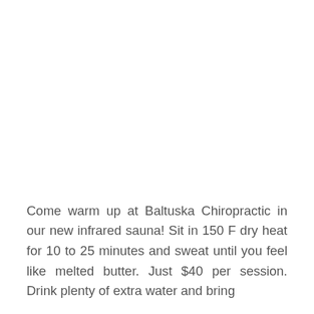Come warm up at Baltuska Chiropractic in our new infrared sauna! Sit in 150 F dry heat for 10 to 25 minutes and sweat until you feel like melted butter. Just $40 per session. Drink plenty of extra water and bring